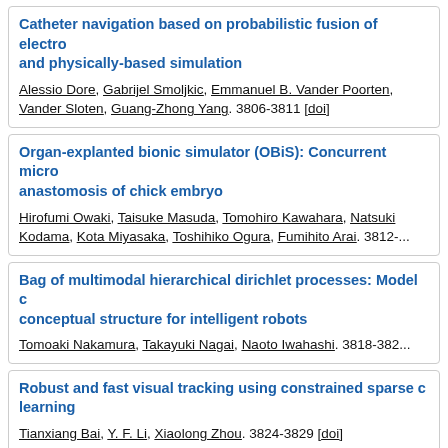Catheter navigation based on probabilistic fusion of electro... and physically-based simulation. Alessio Dore, Gabrijel Smoljkic, Emmanuel B. Vander Poorten, Vander Sloten, Guang-Zhong Yang. 3806-3811 [doi]
Organ-explanted bionic simulator (OBiS): Concurrent micro... anastomosis of chick embryo. Hirofumi Owaki, Taisuke Masuda, Tomohiro Kawahara, Natsuki Kodama, Kota Miyasaka, Toshihiko Ogura, Fumihito Arai. 3812-...
Bag of multimodal hierarchical dirichlet processes: Model c... conceptual structure for intelligent robots. Tomoaki Nakamura, Takayuki Nagai, Naoto Iwahashi. 3818-382...
Robust and fast visual tracking using constrained sparse c... learning. Tianxiang Bai, Y. F. Li, Xiaolong Zhou. 3824-3829 [doi]